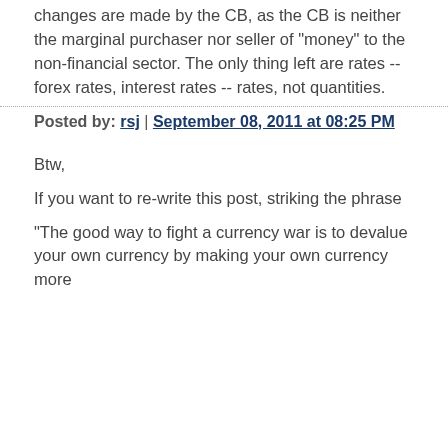changes are made by the CB, as the CB is neither the marginal purchaser nor seller of "money" to the non-financial sector. The only thing left are rates -- forex rates, interest rates -- rates, not quantities.
Posted by: rsj | September 08, 2011 at 08:25 PM
Btw,
If you want to re-write this post, striking the phrase
"The good way to fight a currency war is to devalue your own currency by making your own currency more